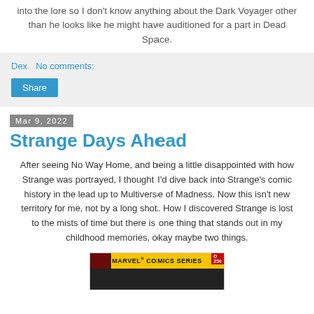into the lore so I don't know anything about the Dark Voyager other than he looks like he might have auditioned for a part in Dead Space.
Dex   No comments:
Share
Mar 9, 2022
Strange Days Ahead
After seeing No Way Home, and being a little disappointed with how Strange was portrayed, I thought I'd dive back into Strange's comic history in the lead up to Multiverse of Madness. Now this isn't new territory for me, not by a long shot. How I discovered Strange is lost to the mists of time but there is one thing that stands out in my childhood memories, okay maybe two things.
[Figure (photo): Marvel Comics Series book cover showing a character, with a yellow banner reading MARVEL COMICS SERIES and a dark lower section.]